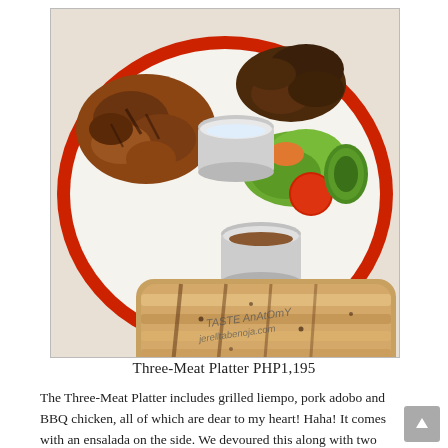[Figure (photo): A plate of Three-Meat Platter on a red-rimmed white plate showing grilled liempo (pork belly), pork adobo, and BBQ chicken with two small metal dipping sauce cups and a side salad with tomatoes, lettuce, and cucumber. Watermark reads 'TASTE ANATOMY jerelltabenoja.com'.]
Three-Meat Platter PHP1,195
The Three-Meat Platter includes grilled liempo, pork adobo and BBQ chicken, all of which are dear to my heart! Haha! It comes with an ensalada on the side. We devoured this along with two servings of rice. We were like